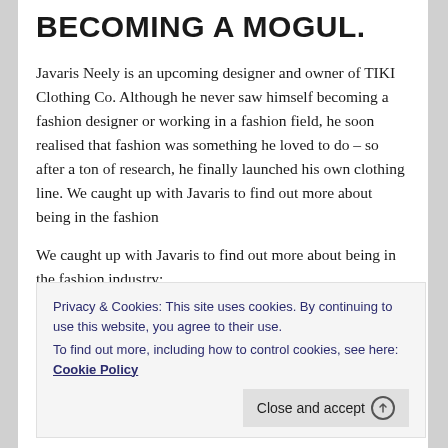BECOMING A MOGUL.
Javaris Neely is an upcoming designer and owner of TIKI Clothing Co. Although he never saw himself becoming a fashion designer or working in a fashion field, he soon realised that fashion was something he loved to do – so after a ton of research, he finally launched his own clothing line. We caught up with Javaris to find out more about being in the fashion
We caught up with Javaris to find out more about being in the fashion industry:
Privacy & Cookies: This site uses cookies. By continuing to use this website, you agree to their use.
To find out more, including how to control cookies, see here: Cookie Policy
Close and accept